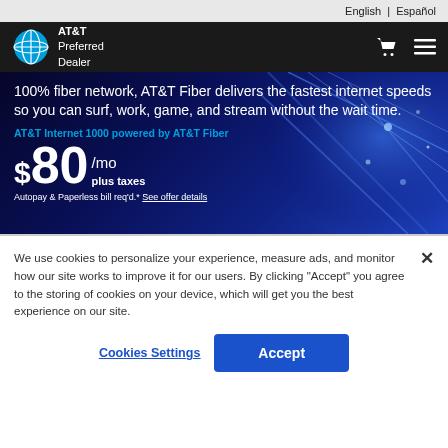English | Español
[Figure (logo): AT&T globe logo with AT&T Preferred Dealer text, navigation icons (cart, hamburger menu)]
100% fiber network, AT&T Fiber delivers the fastest internet speeds so you can surf, work, game, and stream without the wait time.
AT&T Internet 1000 powered by AT&T Fiber
$80 /mo plus taxes
Autopay & Paperless bill req'd.* See offer details
We use cookies to personalize your experience, measure ads, and monitor how our site works to improve it for our users. By clicking "Accept" you agree to the storing of cookies on your device, which will get you the best experience on our site.
Cookies Settings
Accept